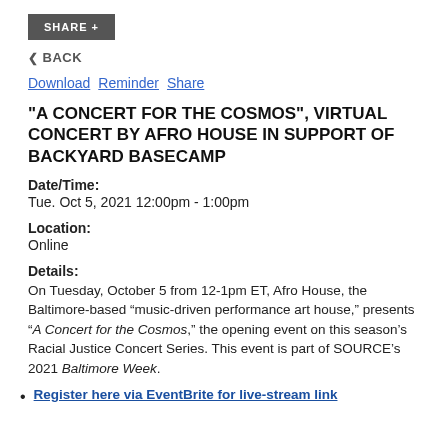SHARE +
< BACK
Download  Reminder  Share
"A CONCERT FOR THE COSMOS", VIRTUAL CONCERT BY AFRO HOUSE IN SUPPORT OF BACKYARD BASECAMP
Date/Time:
Tue. Oct 5, 2021 12:00pm - 1:00pm
Location:
Online
Details:
On Tuesday, October 5 from 12-1pm ET, Afro House, the Baltimore-based “music-driven performance art house,” presents “A Concert for the Cosmos,” the opening event on this season’s Racial Justice Concert Series. This event is part of SOURCE’s 2021 Baltimore Week.
Register here via EventBrite for live-stream link